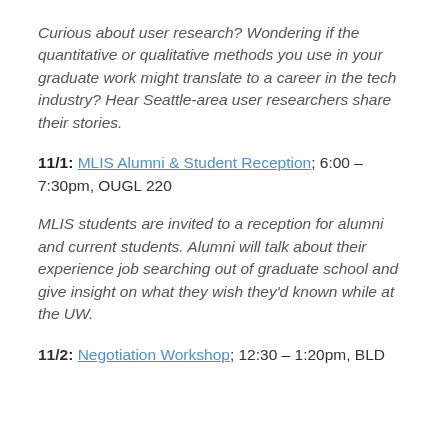Curious about user research? Wondering if the quantitative or qualitative methods you use in your graduate work might translate to a career in the tech industry? Hear Seattle-area user researchers share their stories.
11/1: MLIS Alumni & Student Reception; 6:00 – 7:30pm, OUGL 220
MLIS students are invited to a reception for alumni and current students. Alumni will talk about their experience job searching out of graduate school and give insight on what they wish they'd known while at the UW.
11/2: Negotiation Workshop; 12:30 – 1:20pm, BLD